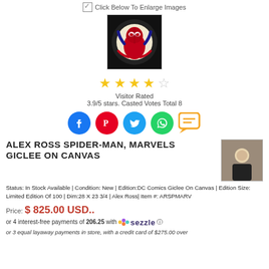Click Below To Enlarge Images
[Figure (photo): Spider-Man character photo on dark circular background]
[Figure (other): 4 filled gold stars and 1 empty star rating display]
Visitor Rated
3.9/5 stars. Casted Votes Total 8
[Figure (other): Social sharing icons: Facebook, Pinterest, Twitter, WhatsApp, Chat]
ALEX ROSS SPIDER-MAN, MARVELS GICLEE ON CANVAS
Status: In Stock Available | Condition: New | Edition:DC Comics Giclee On Canvas | Edition Size: Limited Edition Of 100 | Dim:28 X 23 3/4 | Alex Ross| Item #: ARSPMARV
[Figure (photo): Author photo of Alex Ross]
Price: $ 825.00 USD..
or 4 interest-free payments of 206.25 with Sezzle
or 3 equal layaway payments in store, with a credit card of $275.00 over